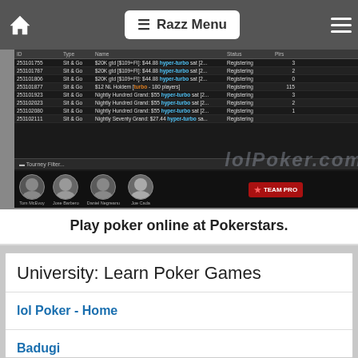≡ Razz Menu
[Figure (screenshot): PokerStars tournament lobby screenshot showing sit & go tournaments with hyper-turbo options, team pro faces, and login button]
Play poker online at Pokerstars.
University: Learn Poker Games
lol Poker - Home
Badugi
Razz
Omaha Holdem